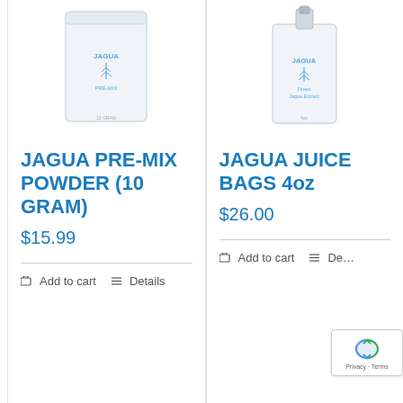[Figure (photo): Jagua Pre-Mix Powder product in a white flat pouch bag with light blue Jagua logo and text]
JAGUA PRE-MIX POWDER (10 GRAM)
$15.99
Add to cart
Details
[Figure (photo): Jagua Juice Bags 4oz product in a white spouted pouch bag with light blue Jagua logo and text]
JAGUA JUICE BAGS 4oz
$26.00
Add to cart
De...